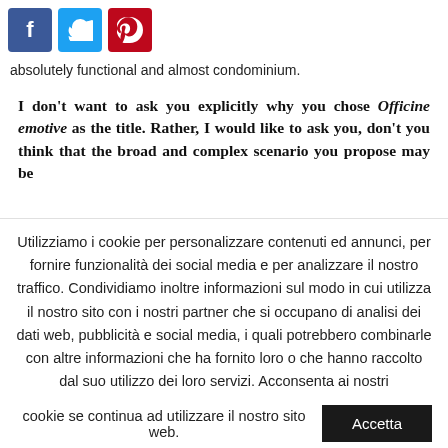[Figure (other): Social share buttons: Facebook (blue), Twitter (light blue), Pinterest (red)]
absolutely functional and almost condominium.
I don't want to ask you explicitly why you chose Officine emotive as the title. Rather, I would like to ask you, don't you think that the broad and complex scenario you propose may be
Utilizziamo i cookie per personalizzare contenuti ed annunci, per fornire funzionalità dei social media e per analizzare il nostro traffico. Condividiamo inoltre informazioni sul modo in cui utilizza il nostro sito con i nostri partner che si occupano di analisi dei dati web, pubblicità e social media, i quali potrebbero combinarle con altre informazioni che ha fornito loro o che hanno raccolto dal suo utilizzo dei loro servizi. Acconsenta ai nostri cookie se continua ad utilizzare il nostro sito web.
Accetta
Rifiuta
Leggi